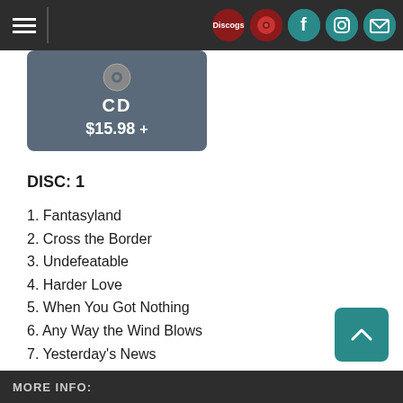Navigation header with hamburger menu and social icons (Discogs, album, Facebook, Instagram, email)
[Figure (other): CD format button showing CD icon, 'CD' label, and price $15.98 with plus icon on grey rounded rectangle background]
DISC: 1
1. Fantasyland
2. Cross the Border
3. Undefeatable
4. Harder Love
5. When You Got Nothing
6. Any Way the Wind Blows
7. Yesterday's News
8. Badlands
9. Wild River
10. Criminal Mind
11. Love to Love
12. Long Time Gone
MORE INFO: